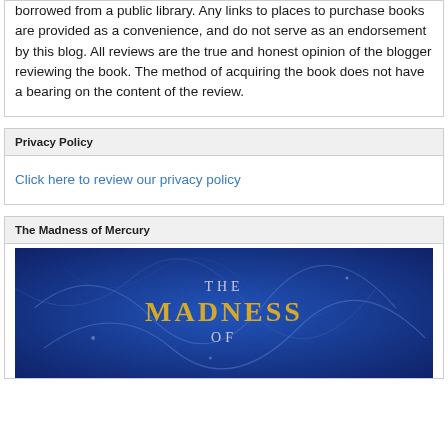borrowed from a public library. Any links to places to purchase books are provided as a convenience, and do not serve as an endorsement by this blog. All reviews are the true and honest opinion of the blogger reviewing the book. The method of acquiring the book does not have a bearing on the content of the review.
Privacy Policy
Click here to review our privacy policy
The Madness of Mercury
[Figure (illustration): Book cover for 'The Madness of Mercury' with blue background and gold text showing THE MADNESS OF]